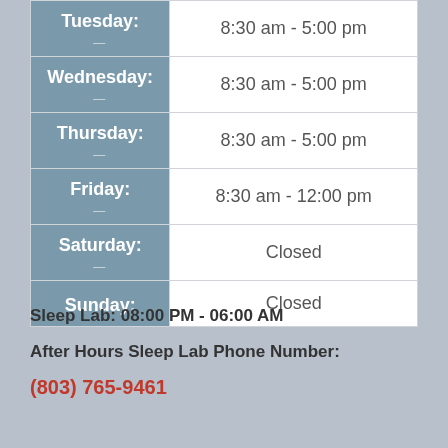| Day | Hours |
| --- | --- |
| Tuesday: | 8:30 am - 5:00 pm |
| Wednesday: | 8:30 am - 5:00 pm |
| Thursday: | 8:30 am - 5:00 pm |
| Friday: | 8:30 am - 12:00 pm |
| Saturday: | Closed |
| Sunday: | Closed |
Sleep Lab: 08:00 PM - 06:00 AM
After Hours Sleep Lab Phone Number:
(803) 765-9461